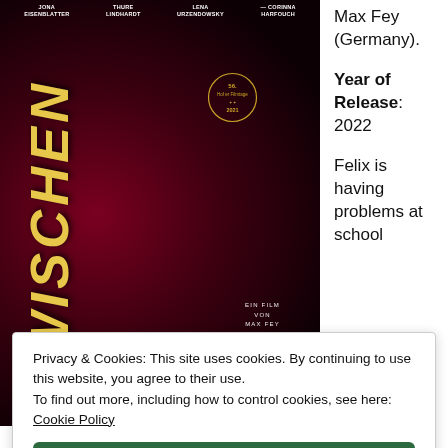[Figure (photo): Movie poster for 'Zwischen' (2022), a German film directed by Max Fey, featuring a woman's face in dark red/crimson lighting with the title 'ZWISCHEN' displayed vertically in gold/yellow letters. Actors listed at top: Jona Eisenblatter, Thure Lindhardt, Lena Urzendowsky, Corinna Harfouch. Festival badge visible.]
Max Fey (Germany). Year of Release: 2022

Felix is having problems at school
Privacy & Cookies: This site uses cookies. By continuing to use this website, you agree to their use. To find out more, including how to control cookies, see here: Cookie Policy
Close and accept
and some parents have called Felix's mother Eva in